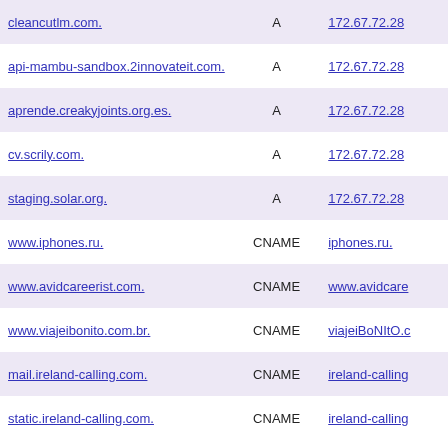| cleancutlm.com. | A | 172.67.72.28 |
| api-mambu-sandbox.2innovateit.com. | A | 172.67.72.28 |
| aprende.creakyjoints.org.es. | A | 172.67.72.28 |
| cv.scrily.com. | A | 172.67.72.28 |
| staging.solar.org. | A | 172.67.72.28 |
| www.iphones.ru. | CNAME | iphones.ru. |
| www.avidcareerist.com. | CNAME | www.avidcare |
| www.viajeibonito.com.br. | CNAME | viajeiBoNItO.c |
| mail.ireland-calling.com. | CNAME | ireland-calling |
| static.ireland-calling.com. | CNAME | ireland-calling |